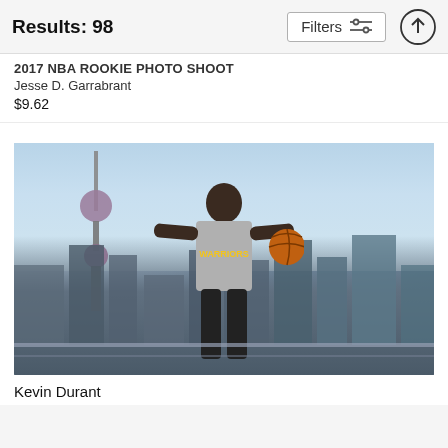Results: 98
2017 Nba Rookie Photo Shoot
Jesse D. Garrabrant
$9.62
[Figure (photo): Kevin Durant wearing a Golden State Warriors grey t-shirt, standing on a rooftop balcony holding a basketball, with the Shanghai skyline including the Oriental Pearl Tower visible in the background.]
Kevin Durant